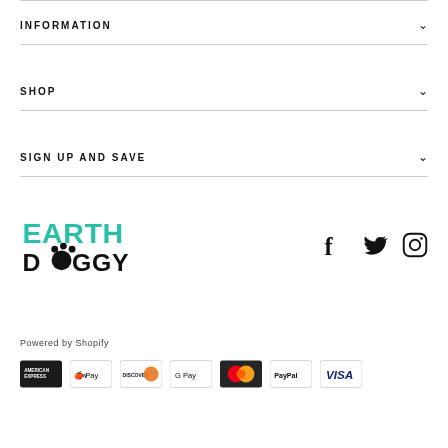INFORMATION
SHOP
SIGN UP AND SAVE
[Figure (logo): Earth Doggy logo - EARTH in teal/green, DOGGY in black with paw print replacing O]
[Figure (infographic): Social media icons: Facebook, Twitter, Instagram]
Powered by Shopify
[Figure (infographic): Payment method icons: American Express, Apple Pay, Discover, Google Pay, Mastercard, PayPal, Visa]